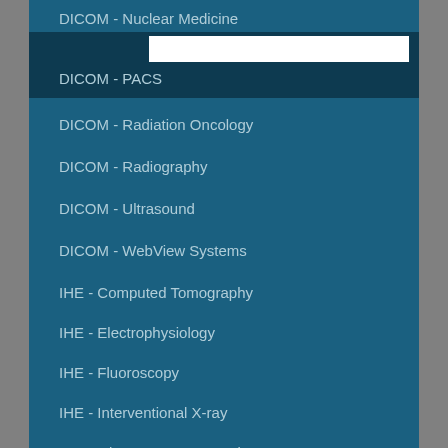DICOM - Nuclear Medicine
DICOM - PACS
DICOM - Radiation Oncology
DICOM - Radiography
DICOM - Ultrasound
DICOM - WebView Systems
IHE - Computed Tomography
IHE - Electrophysiology
IHE - Fluoroscopy
IHE - Interventional X-ray
Magnetic Resonance Imaging
IHE - Nuclear Medicine
IHE - Patient Monitoring
IHE - PACS Systems and Web Viewing